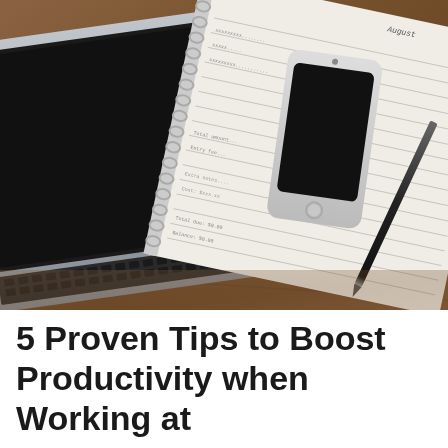[Figure (photo): Top-down photo of a wooden desk with a MacBook laptop on the left (keyboard visible), an open spiral-bound planner notebook in the center-right with a smartphone placed on it, and a black pen resting on the notebook. The scene is photographed from above in a flat-lay style with muted, desaturated tones.]
5 Proven Tips to Boost Productivity when Working at